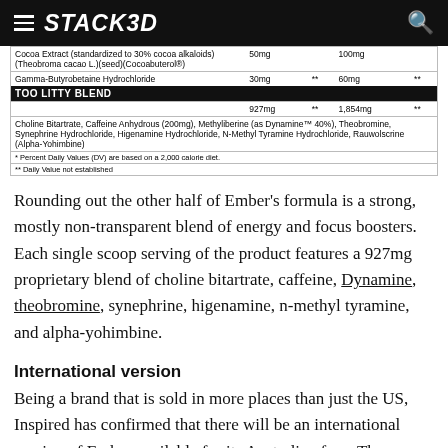STACK3D
| Cocoa Extract (standardized to 30% cocoa alkaloids)(Theobroma cacao L.)(seed)(Cocoabuterol®) | 50mg |  | 100mg |  |
| Gamma-Butyrobetaine Hydrochloride | 30mg | ** | 60mg | ** |
| TOO LITTY BLEND |  |  |  |  |
|  | 927mg | ** | 1,854mg | ** |
| Choline Bitartrate, Caffeine Anhydrous (200mg), Methyliberine (as Dynamine™ 40%), Theobromine, Synephrine Hydrochloride, Higenamine Hydrochloride, N-Methyl Tyramine Hydrochloride, Rauwolscrine (Alpha-Yohimbine) |  |  |  |  |
| * Percent Daily Values (DV) are based on a 2,000 calorie diet. |  |  |  |  |
| ** Daily Value not established |  |  |  |  |
Rounding out the other half of Ember's formula is a strong, mostly non-transparent blend of energy and focus boosters. Each single scoop serving of the product features a 927mg proprietary blend of choline bitartrate, caffeine, Dynamine, theobromine, synephrine, higenamine, n-methyl tyramine, and alpha-yohimbine.
International version
Being a brand that is sold in more places than just the US, Inspired has confirmed that there will be an international version of Ember available for its Australian fans. The